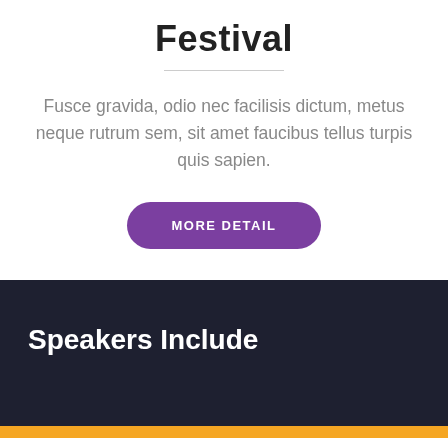Festival
Fusce gravida, odio nec facilisis dictum, metus neque rutrum sem, sit amet faucibus tellus turpis quis sapien.
[Figure (other): Purple rounded button labeled MORE DETAIL]
Speakers Include